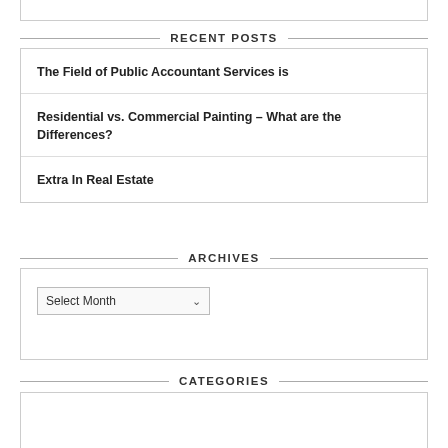RECENT POSTS
The Field of Public Accountant Services is
Residential vs. Commercial Painting – What are the Differences?
Extra In Real Estate
ARCHIVES
Select Month
CATEGORIES